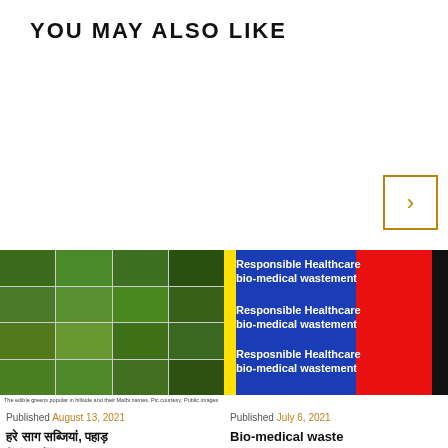YOU MAY ALSO LIKE
[Figure (illustration): Right navigation arrow button with gold/brown border]
[Figure (photo): Grid of edible green plants with Hindi names labels, 4x4 grid of various leafy greens]
The edible greens popular in hillside and their Mathi names. Pic courtesy: Public images available on various locations
[Figure (illustration): Responsible Healthcare bio-medical waste management promotional image with blue, red, yellow and black colored panels with white bold text repeated three times]
Published August 13, 2021
हरे साग सब्जियां, पहाड़ हिंदी नामों
Published July 6, 2021
Bio-medical waste management and